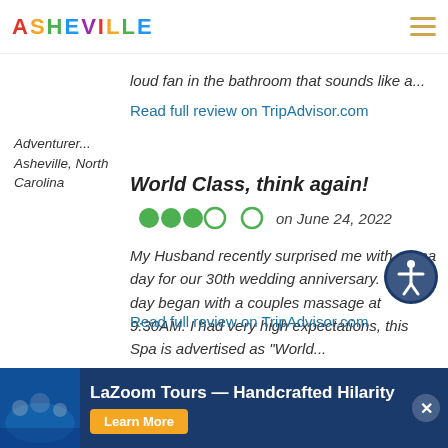ASHEVILLE
loud fan in the bathroom that sounds like a...
Read full review on TripAdvisor.com
Adventurer... Asheville, North Carolina
World Class, think again!
on June 24, 2022
My Husband recently surprised me with a Spa day for our 30th wedding anniversary. Our day began with a couples massage at 9:30AM. I had very high expectations, this Spa is advertised as "World...
Read full review on TripAdvisor.com
LaZoom Tours — Handcrafted Hilarity  Learn More